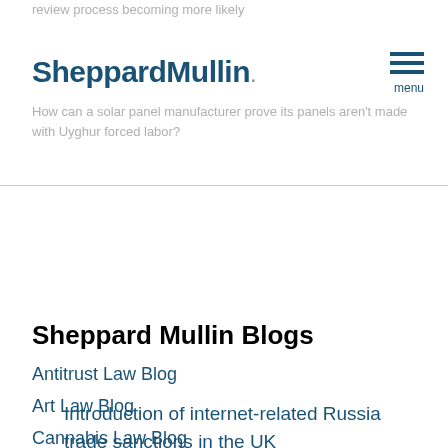review process becoming more likely
[Figure (logo): Sheppard Mullin law firm logo]
How can a solar panel manufacturer prove its panels aren't made with Uyghur forced labor?
Introduction of internet-related Russia trade sanctions in the UK
Sheppard Mullin Blogs
Antitrust Law Blog
Art Law Blog
Cannabis Law Blog
China Law Update Blog
Class Action Defense Strategy Blog
Construction & Infrastructure Law Blog